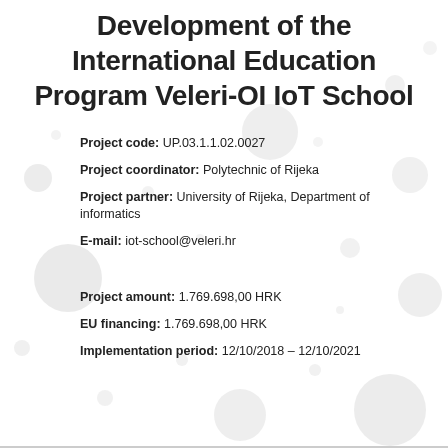Development of the International Education Program Veleri-OI IoT School
Project code: UP.03.1.1.02.0027
Project coordinator: Polytechnic of Rijeka
Project partner: University of Rijeka, Department of informatics
E-mail: iot-school@veleri.hr
Project amount: 1.769.698,00 HRK
EU financing: 1.769.698,00 HRK
Implementation period: 12/10/2018 – 12/10/2021